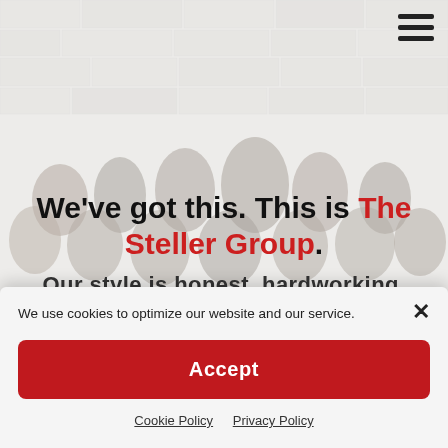[Figure (photo): Group photo of The Steller Group team members seated and standing in front of a stone wall background, faded/light overlay]
[Figure (other): Hamburger menu icon (three horizontal lines) in top right corner]
We’ve got this. This is The Steller Group.
Our style is honest, hardworking, and [redacted]
×
We use cookies to optimize our website and our service.
Accept
Cookie Policy   Privacy Policy